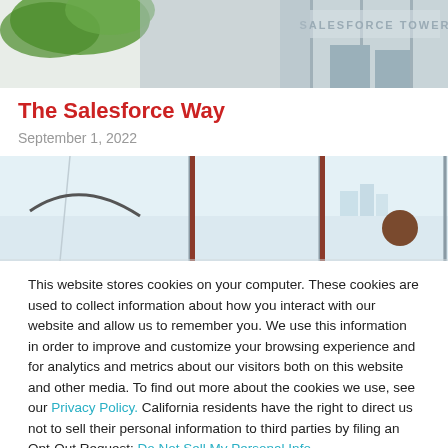[Figure (photo): Top portion of Salesforce Tower building exterior with a tree visible and signage reading SALESFORCE TOWER]
The Salesforce Way
September 1, 2022
[Figure (photo): Interior office view with glass panels and a person visible in the background, city skyline outside]
This website stores cookies on your computer. These cookies are used to collect information about how you interact with our website and allow us to remember you. We use this information in order to improve and customize your browsing experience and for analytics and metrics about our visitors both on this website and other media. To find out more about the cookies we use, see our Privacy Policy. California residents have the right to direct us not to sell their personal information to third parties by filing an Opt-Out Request: Do Not Sell My Personal Info.
Accept